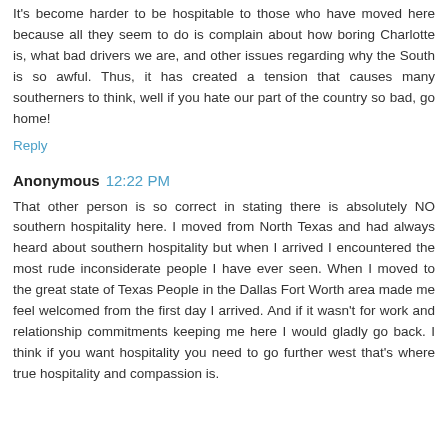It's become harder to be hospitable to those who have moved here because all they seem to do is complain about how boring Charlotte is, what bad drivers we are, and other issues regarding why the South is so awful. Thus, it has created a tension that causes many southerners to think, well if you hate our part of the country so bad, go home!
Reply
Anonymous 12:22 PM
That other person is so correct in stating there is absolutely NO southern hospitality here. I moved from North Texas and had always heard about southern hospitality but when I arrived I encountered the most rude inconsiderate people I have ever seen. When I moved to the great state of Texas People in the Dallas Fort Worth area made me feel welcomed from the first day I arrived. And if it wasn't for work and relationship commitments keeping me here I would gladly go back. I think if you want hospitality you need to go further west that's where true hospitality and compassion is.